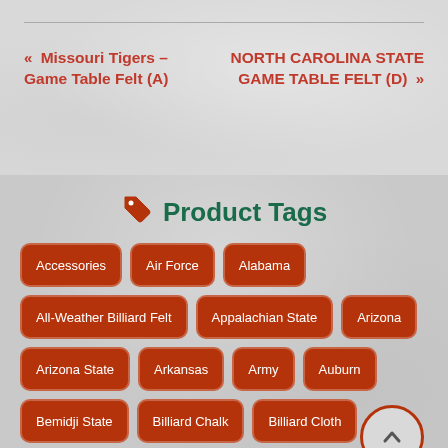« Missouri Tigers – Game Table Felt (A)
NORTH CAROLINA STATE GAME TABLE FELT (D) »
Product Tags
Accessories
Air Force
Alabama
All-Weather Billiard Felt
Appalachian State
Arizona
Arizona State
Arkansas
Army
Auburn
Bemidji State
Billiard Chalk
Billiard Cloth
Billiards Table
Blackjack Table Felt
Boise State